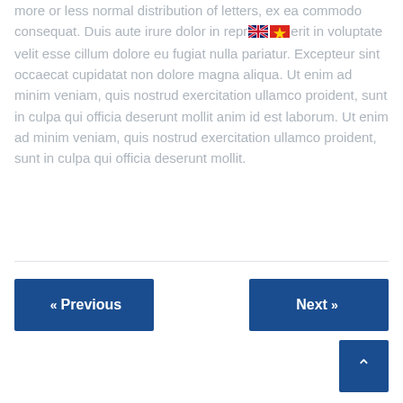more or less normal distribution of letters, ex ea commodo consequat. Duis aute irure dolor in reprehenderit in voluptate velit esse cillum dolore eu fugiat nulla pariatur. Excepteur sint occaecat cupidatat non dolore magna aliqua. Ut enim ad minim veniam, quis nostrud exercitation ullamco proident, sunt in culpa qui officia deserunt mollit anim id est laborum. Ut enim ad minim veniam, quis nostrud exercitation ullamco proident, sunt in culpa qui officia deserunt mollit.
« Previous   Next »